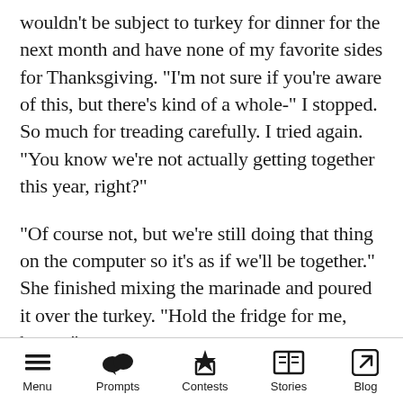wouldn't be subject to turkey for dinner for the next month and have none of my favorite sides for Thanksgiving. “I’m not sure if you’re aware of this, but there’s kind of a whole-” I stopped. So much for treading carefully. I tried again. “You know we’re not actually getting together this year, right?”
“Of course not, but we’re still doing that thing on the computer so it’s as if we’ll be together.” She finished mixing the marinade and poured it over the turkey. “Hold the fridge for me, honey.”
I opened the fridge door. “Mom, we can’t share food over zoom.”
Menu  Prompts  Contests  Stories  Blog